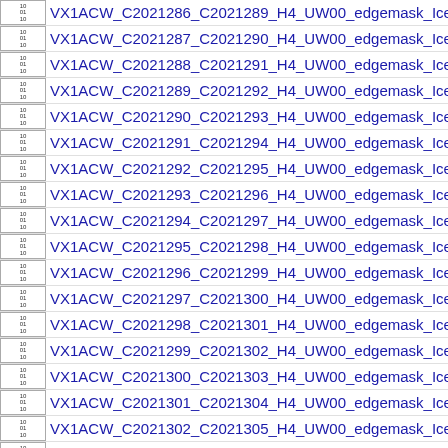VX1ACW_C2021286_C2021289_H4_UW00_edgemask_IceThick
VX1ACW_C2021287_C2021290_H4_UW00_edgemask_IceThick
VX1ACW_C2021288_C2021291_H4_UW00_edgemask_IceThick
VX1ACW_C2021289_C2021292_H4_UW00_edgemask_IceThick
VX1ACW_C2021290_C2021293_H4_UW00_edgemask_IceThick
VX1ACW_C2021291_C2021294_H4_UW00_edgemask_IceThick
VX1ACW_C2021292_C2021295_H4_UW00_edgemask_IceThick
VX1ACW_C2021293_C2021296_H4_UW00_edgemask_IceThick
VX1ACW_C2021294_C2021297_H4_UW00_edgemask_IceThick
VX1ACW_C2021295_C2021298_H4_UW00_edgemask_IceThick
VX1ACW_C2021296_C2021299_H4_UW00_edgemask_IceThick
VX1ACW_C2021297_C2021300_H4_UW00_edgemask_IceThick
VX1ACW_C2021298_C2021301_H4_UW00_edgemask_IceThick
VX1ACW_C2021299_C2021302_H4_UW00_edgemask_IceThick
VX1ACW_C2021300_C2021303_H4_UW00_edgemask_IceThick
VX1ACW_C2021301_C2021304_H4_UW00_edgemask_IceThick
VX1ACW_C2021302_C2021305_H4_UW00_edgemask_IceThick
VX1ACW_C2021303_C2021306_H4_UW00_edgemask_IceThick
VX1ACW_C2021304_C2021307_H4_UW00_edgemask_IceThick
VX1ACW_C2021305_C2021308_H4_UW00_edgemask_IceThick
VX1ACW_C2021306_C2021309_H4_UW00_edgemask_IceThick